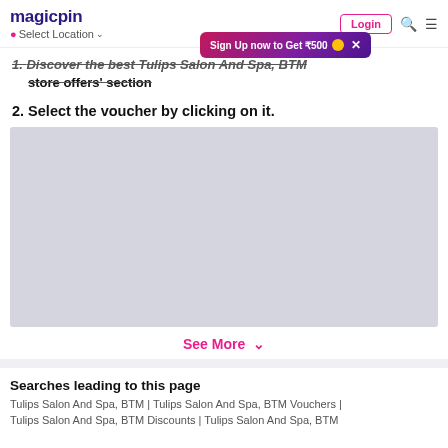magicpin | Select Location | Login | Search | Menu
[Figure (screenshot): Sign Up now to Get ₹500 banner popup with gradient pink-purple background and close button]
1. Discover the best Tulips Salon And Spa, BTM store offers' section
2. Select the voucher by clicking on it.
[Figure (photo): Light gray image placeholder rectangle]
See More ∨
Searches leading to this page
Tulips Salon And Spa, BTM | Tulips Salon And Spa, BTM Vouchers | Tulips Salon And Spa, BTM Discounts | Tulips Salon And Spa, BTM